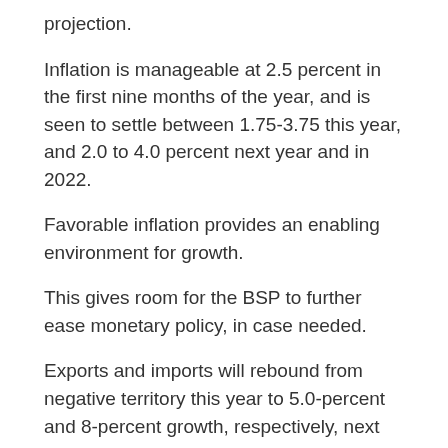projection.
Inflation is manageable at 2.5 percent in the first nine months of the year, and is seen to settle between 1.75-3.75 this year, and 2.0 to 4.0 percent next year and in 2022.
Favorable inflation provides an enabling environment for growth.
This gives room for the BSP to further ease monetary policy, in case needed.
Exports and imports will rebound from negative territory this year to 5.0-percent and 8-percent growth, respectively, next year.
FDIs will rise to USD 7.0 billion next year.